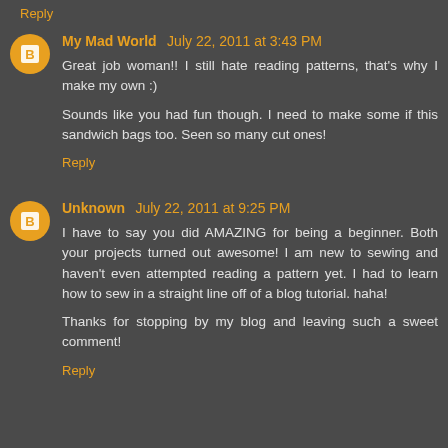Reply
My Mad World July 22, 2011 at 3:43 PM
Great job woman!! I still hate reading patterns, that's why I make my own :)
Sounds like you had fun though. I need to make some if this sandwich bags too. Seen so many cut ones!
Reply
Unknown July 22, 2011 at 9:25 PM
I have to say you did AMAZING for being a beginner. Both your projects turned out awesome! I am new to sewing and haven't even attempted reading a pattern yet. I had to learn how to sew in a straight line off of a blog tutorial. haha!
Thanks for stopping by my blog and leaving such a sweet comment!
Reply